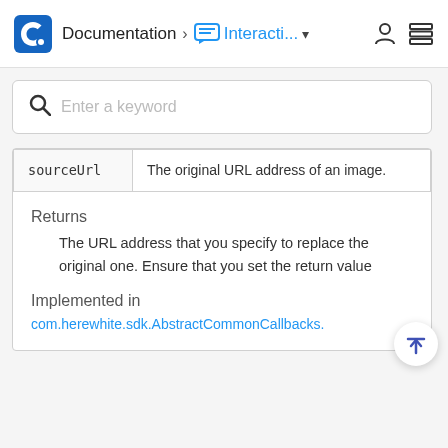Documentation > Interacti... ▾
[Figure (screenshot): Search bar with magnifying glass icon and placeholder text 'Enter a keyword']
| sourceUrl | The original URL address of an image. |
Returns
The URL address that you specify to replace the original one. Ensure that you set the return value
Implemented in
com.herewhite.sdk.AbstractCommonCallbacks.